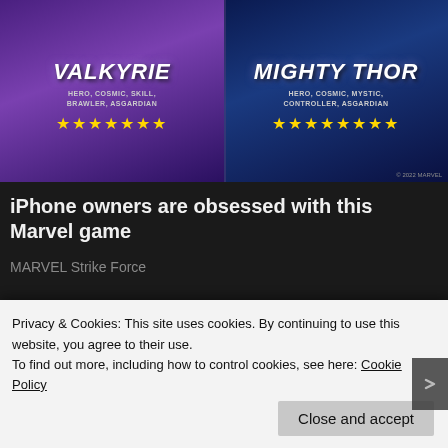[Figure (screenshot): Marvel Strike Force game advertisement showing two heroes: Valkyrie (Hero, Cosmic, Skill, Brawler, Asgardian) with 7 yellow stars, and Mighty Thor (Hero, Cosmic, Mystic, Controller, Asgardian) with 8 yellow stars, on a dark fantasy background.]
iPhone owners are obsessed with this Marvel game
MARVEL Strike Force
[Figure (photo): Partial photo of a dark navy blue ergonomic seat cushion or pillow against a grey background.]
Privacy & Cookies: This site uses cookies. By continuing to use this website, you agree to their use.
To find out more, including how to control cookies, see here: Cookie Policy